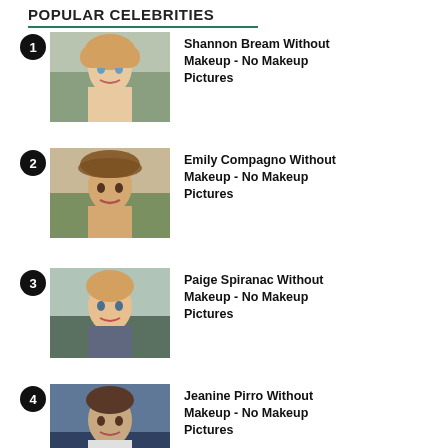POPULAR CELEBRITIES
Shannon Bream Without Makeup - No Makeup Pictures
Emily Compagno Without Makeup - No Makeup Pictures
Paige Spiranac Without Makeup - No Makeup Pictures
Jeanine Pirro Without Makeup - No Makeup Pictures